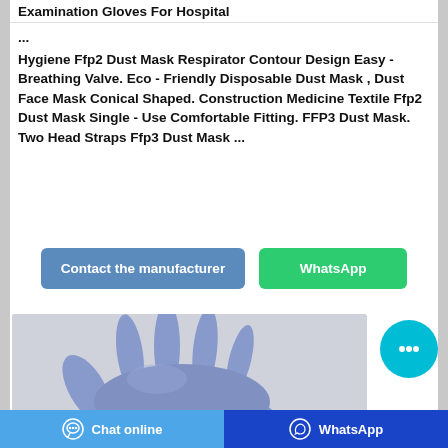Examination Gloves For Hospital ...
Hygiene Ffp2 Dust Mask Respirator Contour Design Easy - Breathing Valve. Eco - Friendly Disposable Dust Mask , Dust Face Mask Conical Shaped. Construction Medicine Textile Ffp2 Dust Mask Single - Use Comfortable Fitting. FFP3 Dust Mask. Two Head Straps Ffp3 Dust Mask ...
[Figure (other): Blue nitrile examination glove on a hand, product photo on grey background]
Chat online   WhatsApp